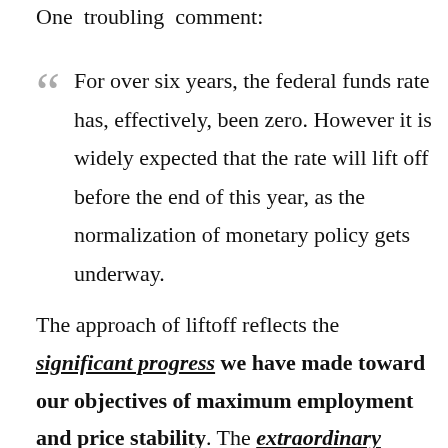One troubling comment:
For over six years, the federal funds rate has, effectively, been zero. However it is widely expected that the rate will lift off before the end of this year, as the normalization of monetary policy gets underway.
The approach of liftoff reflects the significant progress we have made toward our objectives of maximum employment and price stability. The extraordinary monetary policy accommodation that the